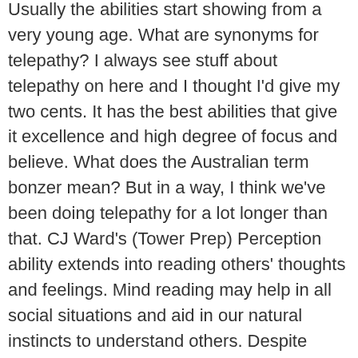Usually the abilities start showing from a very young age. What are synonyms for telepathy? I always see stuff about telepathy on here and I thought I'd give my two cents. It has the best abilities that give it excellence and high degree of focus and believe. What does the Australian term bonzer mean? But in a way, I think we've been doing telepathy for a lot longer than that. CJ Ward's (Tower Prep) Perception ability extends into reading others' thoughts and feelings. Mind reading may help in all social situations and aid in our natural instincts to understand others. Despite being very common, most people are doubtful of the existence of telepathy or that learning telepathy is something which they can do. The user is able to open up a line of communication that may be heard clearly without the need to verbally speak to the receiver. Antonyms for telepathy tə'lɛp ə θi This page is about all possible antonyms and opposite words for the term telepathy. All content on this website, including dictionary, thesaurus, literature, geography, and other reference data is for informational purposes